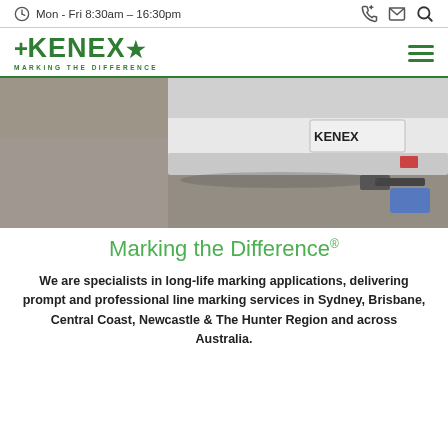Mon - Fri 8:30am – 16:30pm
[Figure (logo): KENEX logo with tagline MARKING THE DIFFERENCE in green]
[Figure (photo): Back of a white 4WD vehicle on asphalt with road marking equipment, license plate reads KENEX]
Marking the Difference®
We are specialists in long-life marking applications, delivering prompt and professional line marking services in Sydney, Brisbane, Central Coast, Newcastle & The Hunter Region and across Australia.